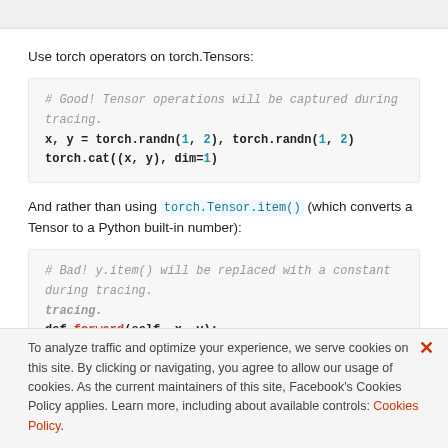Use torch operators on torch.Tensors:
# Good! Tensor operations will be captured during tracing.
x, y = torch.randn(1, 2), torch.randn(1, 2)
torch.cat((x, y), dim=1)
And rather than using torch.Tensor.item() (which converts a Tensor to a Python built-in number):
# Bad! y.item() will be replaced with a constant during tracing.
def forward(self, x, y):
    return x.reshape(y.item(), -1)
To analyze traffic and optimize your experience, we serve cookies on this site. By clicking or navigating, you agree to allow our usage of cookies. As the current maintainers of this site, Facebook's Cookies Policy applies. Learn more, including about available controls: Cookies Policy.